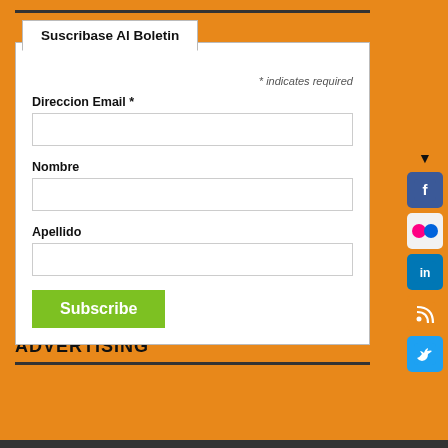Suscribase Al Boletin
* indicates required
Direccion Email *
Nombre
Apellido
Subscribe
ADVERTISING
[Figure (infographic): Social media follow sidebar with icons for Facebook, Flickr, LinkedIn, RSS, Twitter with 'follow' text rotated vertically]